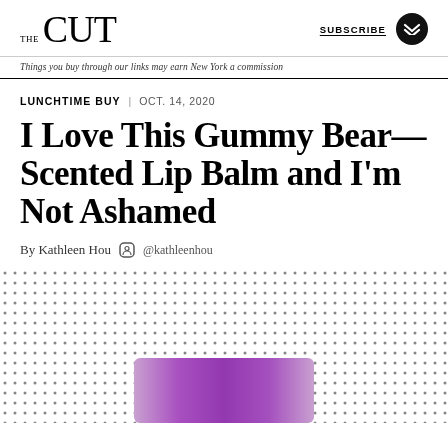THE CUT | SUBSCRIBE
Things you buy through our links may earn New York a commission
LUNCHTIME BUY | OCT. 14, 2020
I Love This Gummy Bear—Scented Lip Balm and I'm Not Ashamed
By Kathleen Hou  @kathleenhou
[Figure (photo): Product photo of a purple lip balm tube against a white dotted background]